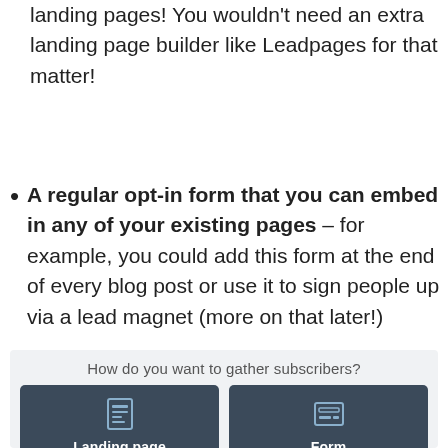landing pages! You wouldn't need an extra landing page builder like Leadpages for that matter!
A regular opt-in form that you can embed in any of your existing pages – for example, you could add this form at the end of every blog post or use it to sign people up via a lead magnet (more on that later!)
[Figure (screenshot): Screenshot of a subscriber gathering options UI showing 'How do you want to gather subscribers?' with two dark card options: 'Landing page' (with a page icon) and 'Form' (with a form icon)]